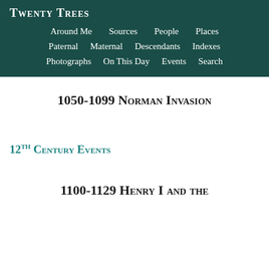Twenty Trees
Around Me   Sources   People   Places
Paternal   Maternal   Descendants   Indexes
Photographs   On This Day   Events   Search
1050-1099 Norman Invasion
12th Century Events
1100-1129 Henry I and the